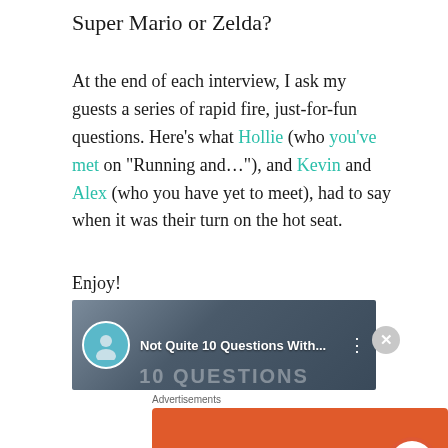Super Mario or Zelda?
At the end of each interview, I ask my guests a series of rapid fire, just-for-fun questions. Here's what Hollie (who you've met on "Running and…"), and Kevin and Alex (who you have yet to meet), had to say when it was their turn on the hot seat.
Enjoy!
[Figure (screenshot): Video thumbnail showing 'Not Quite 10 Questions With...' with a circular avatar on left and menu dots on right, with overlay text '10 QUESTIONS' on a dark blurred background]
[Figure (other): DuckDuckGo advertisement banner with orange background. Text: 'Search, browse, and email with more privacy. All in One Free App'. DuckDuckGo logo on right.]
Advertisements